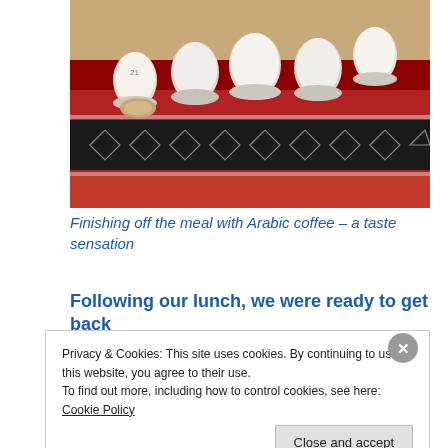[Figure (photo): Photo of small white ceramic cups (Arabic coffee cups) arranged upside down on a traditional red and black patterned Arabian textile/fabric, placed on a surface.]
Finishing off the meal with Arabic coffee – a taste sensation
Following our lunch, we were ready to get back
Privacy & Cookies: This site uses cookies. By continuing to use this website, you agree to their use.
To find out more, including how to control cookies, see here: Cookie Policy
Close and accept